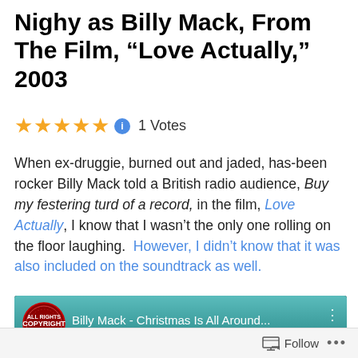Nighy as Billy Mack, From The Film, “Love Actually,” 2003
★★★★★ 1 Votes
When ex-druggie, burned out and jaded, has-been rocker Billy Mack told a British radio audience, Buy my festering turd of a record, in the film, Love Actually, I know that I wasn’t the only one rolling on the floor laughing. However, I didn’t know that it was also included on the soundtrack as well.
[Figure (screenshot): YouTube video thumbnail showing 'Billy Mack - Christmas Is All Around...' with a copyright badge and two faces visible at bottom]
Follow •••